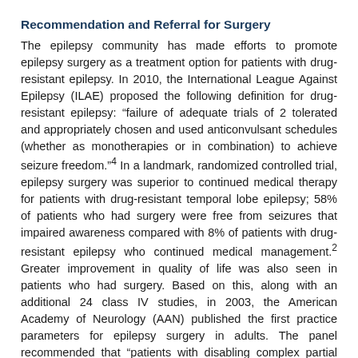Recommendation and Referral for Surgery
The epilepsy community has made efforts to promote epilepsy surgery as a treatment option for patients with drug-resistant epilepsy. In 2010, the International League Against Epilepsy (ILAE) proposed the following definition for drug-resistant epilepsy: “failure of adequate trials of 2 tolerated and appropriately chosen and used anticonvulsant schedules (whether as monotherapies or in combination) to achieve seizure freedom.”⁴ In a landmark, randomized controlled trial, epilepsy surgery was superior to continued medical therapy for patients with drug-resistant temporal lobe epilepsy; 58% of patients who had surgery were free from seizures that impaired awareness compared with 8% of patients with drug-resistant epilepsy who continued medical management.² Greater improvement in quality of life was also seen in patients who had surgery. Based on this, along with an additional 24 class IV studies, in 2003, the American Academy of Neurology (AAN) published the first practice parameters for epilepsy surgery in adults. The panel recommended that “patients with disabling complex partial seizures, with or without secondarily generalized seizures, who have failed appropriate trials of first-line antiepileptic drugs should be considered for referral to an epilepsy surgery center.”⁵